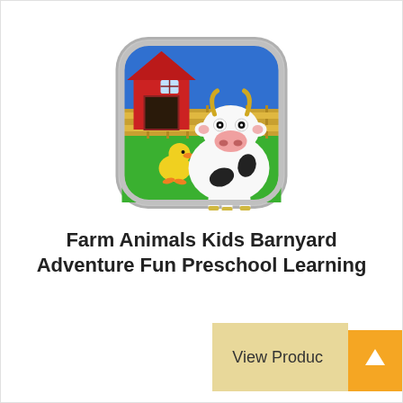[Figure (illustration): App icon for Farm Animals Kids Barnyard Adventure Fun Preschool Learning. Rounded square icon showing a cartoon farm scene: blue sky at top, a red barn with a window in the background, a wooden fence, green grass in foreground, a cartoon yellow duckling on the left, and a cartoon black-and-white dairy cow in the center-right with yellow horns. Gray rounded border around the icon.]
Farm Animals Kids Barnyard Adventure Fun Preschool Learning